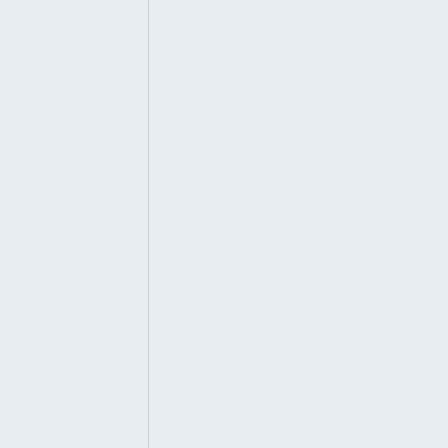estion from one of your users on twitter: Wondering if there would need to be tiered user roles to prev